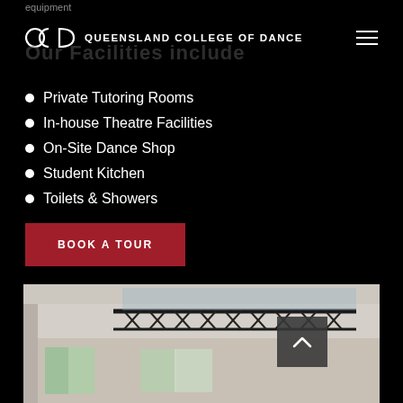equipment
QCD QUEENSLAND COLLEGE OF DANCE
Our Facilities include
Private Tutoring Rooms
In-house Theatre Facilities
On-Site Dance Shop
Student Kitchen
Toilets & Showers
BOOK A TOUR
[Figure (photo): Interior photo of a dance studio with high ceilings, large windows, and industrial-style metal trusses. The room has wooden floors and is brightly lit from natural light.]